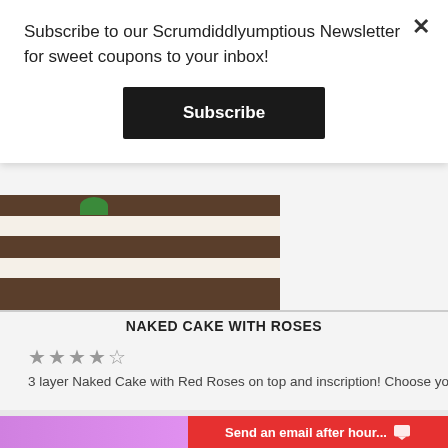Subscribe to our Scrumdiddlyumptious Newsletter for sweet coupons to your inbox!
Subscribe
[Figure (photo): Layered naked cake with white cream layers and green decoration on top, partially visible]
NAKED CAKE WITH ROSES
★★★★★
3 layer Naked Cake with Red Roses on top and inscription! Choose your cak
$150.00 – $200.00
Send an email after hour...